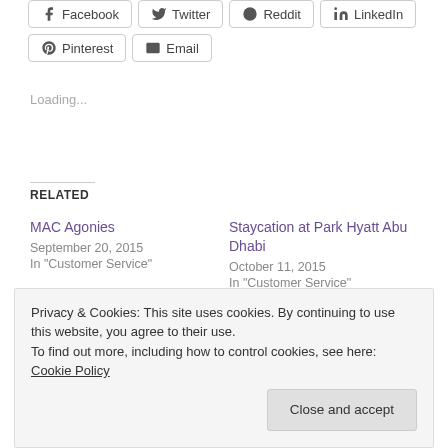[Figure (other): Social sharing buttons: Facebook, Twitter, Reddit, LinkedIn in first row; Pinterest, Email in second row]
Loading...
RELATED
MAC Agonies
September 20, 2015
In "Customer Service"
Staycation at Park Hyatt Abu Dhabi
October 11, 2015
In "Customer Service"
The Good, Bad and Ugly –
Privacy & Cookies: This site uses cookies. By continuing to use this website, you agree to their use.
To find out more, including how to control cookies, see here: Cookie Policy
Close and accept